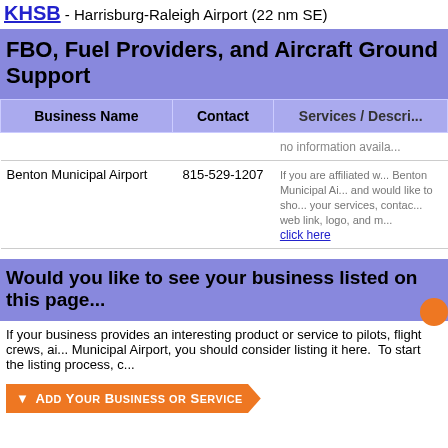KHSB - Harrisburg-Raleigh Airport (22 nm SE)
FBO, Fuel Providers, and Aircraft Ground Support
| Business Name | Contact | Services / Description |
| --- | --- | --- |
|  |  | no information available |
| Benton Municipal Airport | 815-529-1207 | If you are affiliated with Benton Municipal Airport and would like to show your services, contact web link, logo, and more - click here |
Would you like to see your business listed on this page?
If your business provides an interesting product or service to pilots, flight crews, ai... Municipal Airport, you should consider listing it here. To start the listing process, c...
Add Your Business or Service